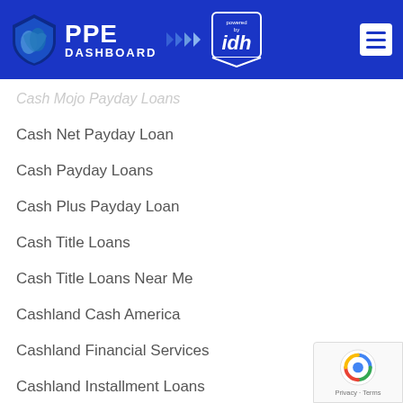[Figure (logo): PPE Dashboard logo with shield icon, powered by IDH badge, and hamburger menu on blue header background]
Cash Mojo Payday Loans
Cash Net Payday Loan
Cash Payday Loans
Cash Plus Payday Loan
Cash Title Loans
Cash Title Loans Near Me
Cashland Cash America
Cashland Financial Services
Cashland Installment Loans